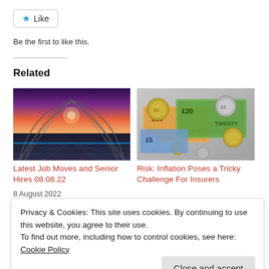[Figure (illustration): Like button with blue star icon]
Be the first to like this.
Related
[Figure (photo): Futuristic bridge at sunset with purple and orange sky]
Latest Job Moves and Senior Hires 08.08.22
8 August 2022
In "News"
[Figure (photo): UK pound coins and banknotes spread out]
Risk: Inflation Poses a Tricky Challenge For Insurers
13 June 2022
Privacy & Cookies: This site uses cookies. By continuing to use this website, you agree to their use.
To find out more, including how to control cookies, see here: Cookie Policy
Close and accept